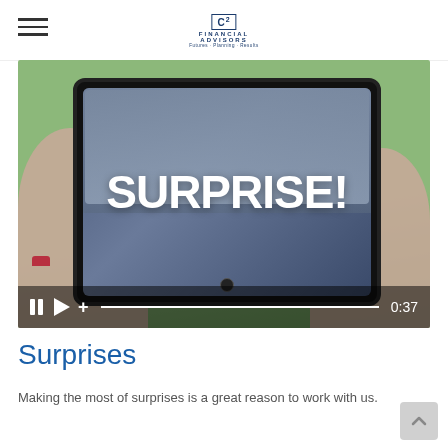C2 Financial Advisors — Navigation header with hamburger menu and logo
[Figure (screenshot): Video player screenshot showing a tablet being held by hands in pink knitted gloves. The tablet screen displays the word SURPRISE! in large white bold text over a scene with people. Video controls at the bottom show pause, play, plus icons, a progress bar, and timestamp 0:37.]
Surprises
Making the most of surprises is a great reason to work with us.